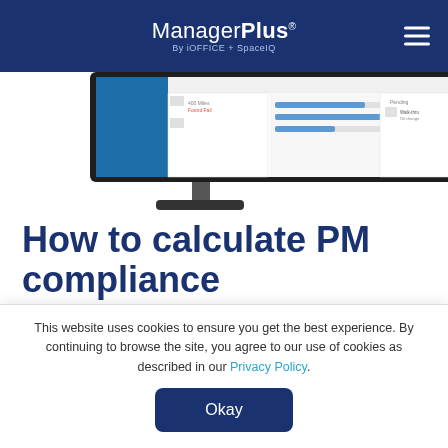ManagerPlus By iOFFICE + SpaceIQ
[Figure (screenshot): Partial screenshot of the ManagerPlus software interface showing a monitor displaying a maintenance management dashboard with work order information.]
How to calculate PM compliance
Since PM compliance is all about helping you improve your
This website uses cookies to ensure you get the best experience. By continuing to browse the site, you agree to our use of cookies as described in our Privacy Policy.
Okay